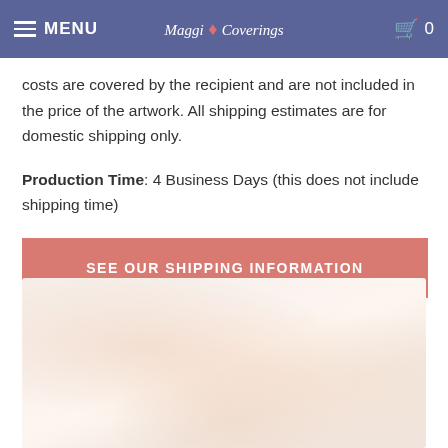MENU | Maggi Coverings | 0
costs are covered by the recipient and are not included in the price of the artwork. All shipping estimates are for domestic shipping only.
Production Time: 4 Business Days (this does not include shipping time)
SEE OUR SHIPPING INFORMATION
[Figure (photo): Blurred product image showing artwork or stationery items with warm pinkish-beige tones]